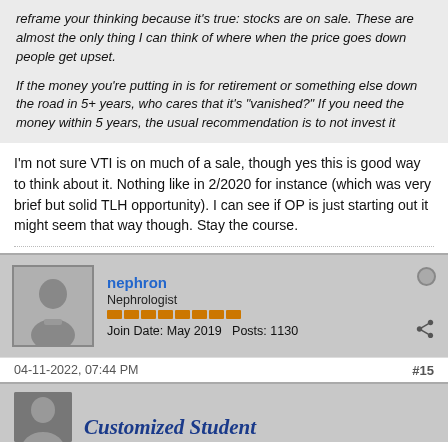reframe your thinking because it's true: stocks are on sale. These are almost the only thing I can think of where when the price goes down people get upset.

If the money you're putting in is for retirement or something else down the road in 5+ years, who cares that it's "vanished?" If you need the money within 5 years, the usual recommendation is to not invest it
I'm not sure VTI is on much of a sale, though yes this is good way to think about it. Nothing like in 2/2020 for instance (which was very brief but solid TLH opportunity). I can see if OP is just starting out it might seem that way though. Stay the course.
nephron
Nephrologist
Join Date: May 2019   Posts: 1130
04-11-2022, 07:44 PM
#15
Customized Student